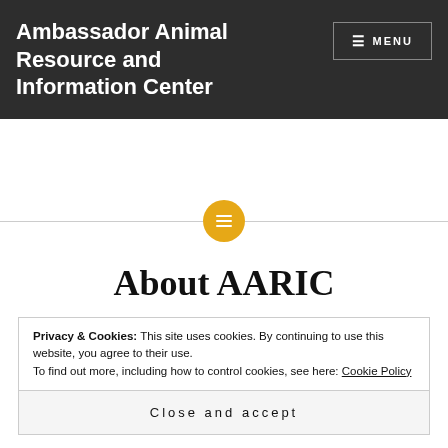Ambassador Animal Resource and Information Center
≡ MENU
[Figure (illustration): Horizontal divider line with a yellow/gold circular icon containing a list/menu symbol in the center]
About AARIC
Privacy & Cookies: This site uses cookies. By continuing to use this website, you agree to their use.
To find out more, including how to control cookies, see here: Cookie Policy
Close and accept